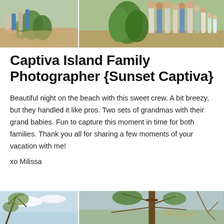[Figure (photo): Two-panel photo strip at top showing family group photos outdoors in a garden/field setting with green plants and sandy ground]
Captiva Island Family Photographer {Sunset Captiva}
Beautiful night on the beach with this sweet crew. A bit breezy, but they handled it like pros. Two sets of grandmas with their grand babies. Fun to capture this moment in time for both families. Thank you all for sharing a few moments of your vacation with me!
xo Milissa
[Figure (photo): Two-panel photo strip at bottom showing outdoor nature/tree scenes with sky, one panel featuring a watermark script logo reading Milissa]